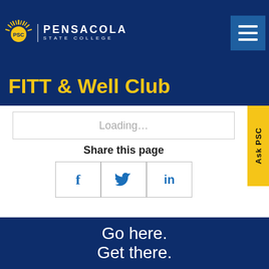PSC | PENSACOLA STATE COLLEGE
FITT & Well Club
Loading...
Share this page
[Figure (screenshot): Social share buttons: Facebook (f), Twitter (bird icon), LinkedIn (in)]
Ask PSC
[Figure (logo): Pensacola State College large logo on dark blue background: PSC sun icon, vertical bar, PENSACOLA STATE COLLEGE text]
Go here.
Get there.